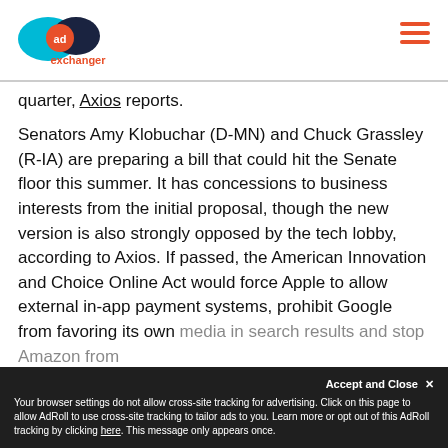AdExchanger
quarter, Axios reports.
Senators Amy Klobuchar (D-MN) and Chuck Grassley (R-IA) are preparing a bill that could hit the Senate floor this summer. It has concessions to business interests from the initial proposal, though the new version is also strongly opposed by the tech lobby, according to Axios. If passed, the American Innovation and Choice Online Act would force Apple to allow external in-app payment systems, prohibit Google from favoring its own media in search results and stop Amazon from...
Your browser settings do not allow cross-site tracking for advertising. Click on this page to allow AdRoll to use cross-site tracking to tailor ads to you. Learn more or opt out of this AdRoll tracking by clicking here. This message only appears once.